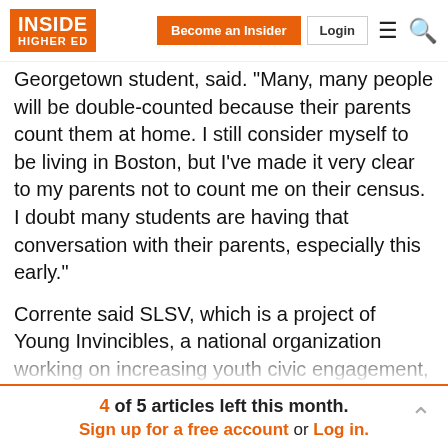Inside Higher Ed — Become an Insider | Login
Georgetown student, said. "Many, many people will be double-counted because their parents count them at home. I still consider myself to be living in Boston, but I've made it very clear to my parents not to count me on their census. I doubt many students are having that conversation with their parents, especially this early."
Corrente said SLSV, which is a project of Young Invincibles, a national organization working on increasing youth civic engagement, will share best practices throughout January and February for educating students about the census with partner institutions and community
4 of 5 articles left this month. Sign up for a free account or Log in.